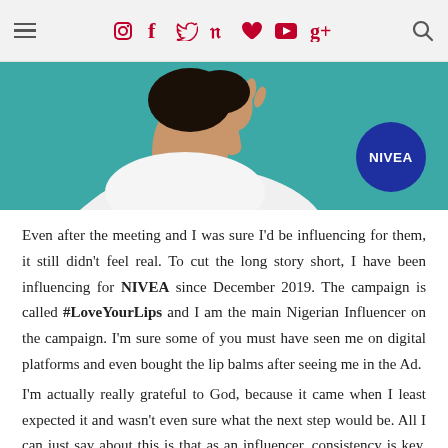Navigation bar with hamburger menu, social icons (Instagram, Facebook, Twitter, Pinterest, Heart, YouTube, Google+), and search icon
[Figure (photo): Photo of a person touching their face/neck against a teal background, with a NIVEA circular logo badge in the lower right corner]
Even after the meeting and I was sure I'd be influencing for them, it still didn't feel real. To cut the long story short, I have been influencing for NIVEA since December 2019. The campaign is called #LoveYourLips and I am the main Nigerian Influencer on the campaign. I'm sure some of you must have seen me on digital platforms and even bought the lip balms after seeing me in the Ad.
I'm actually really grateful to God, because it came when I least expected it and wasn't even sure what the next step would be. All I can just say about this is that as an influencer, consistency is key. Please